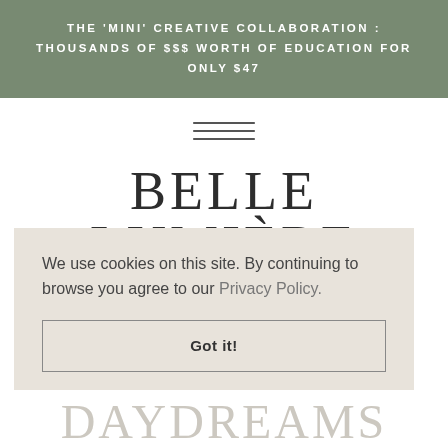THE 'MINI' CREATIVE COLLABORATION : THOUSANDS OF $$$ WORTH OF EDUCATION FOR ONLY $47
[Figure (other): Hamburger menu icon (three horizontal lines)]
BELLE LUMIÈRE
We use cookies on this site. By continuing to browse you agree to our Privacy Policy.
Got it!
JANUARY 5, 2018
GRECIAN DAYDREAMS